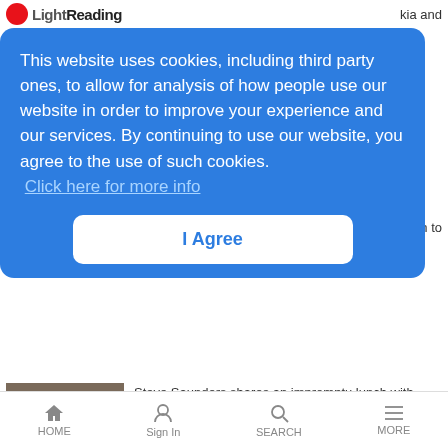LightReading
This website uses cookies, including third party ones, to allow for analysis of how people use our website in order to improve your experience and our services. By continuing to use our website, you agree to the use of such cookies. Click here for more info
I Agree
Steve Saunders shares an impromptu lunch with none other than Bill Gates.
T-Mobile CEO Plays Data Traffic Cop
News Analysis | 8/31/2015
John Legere says he will go after those customers who abuse unlimited data plans by exploiting loopholes in tethering, kicking them off unlimited
HOME  Sign In  SEARCH  MORE